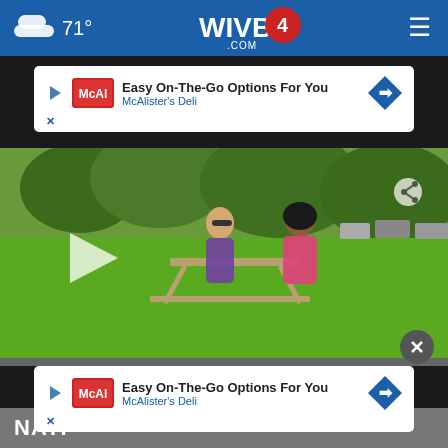71° WIVB4.COM
[Figure (screenshot): Advertisement banner: McAlister's Deli - Easy On-The-Go Options For You]
[Figure (photo): Video thumbnail showing two women sitting at a picnic table in a park, one wearing a purple dress with sunglasses, the other in a pink top, with green grass and trees in the background. A play button is overlaid on the left side.]
[Figure (screenshot): Advertisement banner at bottom: McAlister's Deli - Easy On-The-Go Options For You, with close X button]
NATI